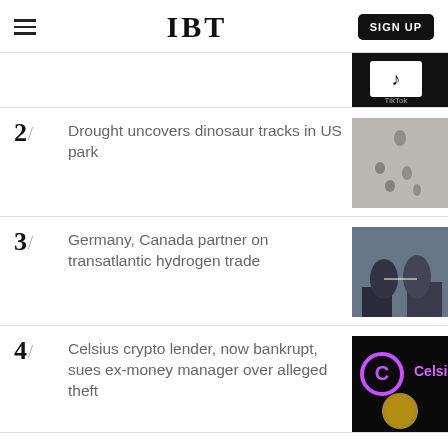IBT
2/ Drought uncovers dinosaur tracks in US park
3/ Germany, Canada partner on transatlantic hydrogen trade
4/ Celsius crypto lender, now bankrupt, sues ex-money manager over alleged theft